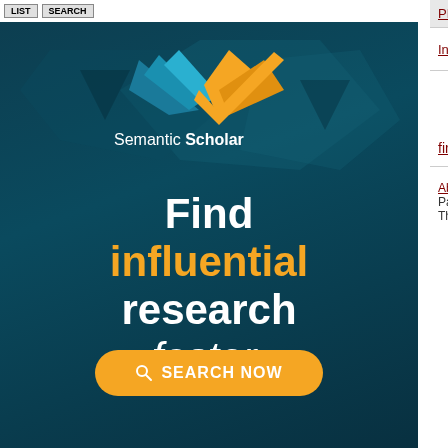| Conference | Date |
| --- | --- |
| PEIAS 2013 | Jun 9, 2... |
| Intellectbase Atlanta 2013 | Intellectbase
Oct 17, ... |
first | previous | Page 1 | next | last
[Figure (advertisement): Semantic Scholar advertisement banner: dark teal background with geometric shapes, bird/check logo, text 'Find influential research faster.' and yellow SEARCH NOW button]
About Us | Contact Us | Data | Privacy Policy | Terms an... Partners: AI2's Semantic Scholar This wiki is licensed under a Creative Commons Attribu...